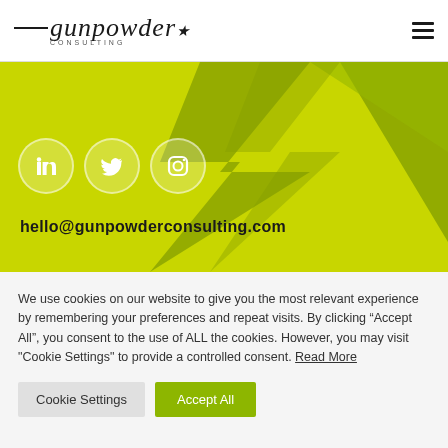gunpowder CONSULTING
[Figure (screenshot): Yellow-green banner with dark green lightning-bolt/triangle decorative shapes in background, three social media icon circles (LinkedIn, Twitter, Instagram), and bold email address hello@gunpowderconsulting.com]
hello@gunpowderconsulting.com
We use cookies on our website to give you the most relevant experience by remembering your preferences and repeat visits. By clicking “Accept All”, you consent to the use of ALL the cookies. However, you may visit "Cookie Settings" to provide a controlled consent. Read More
Cookie Settings | Accept All